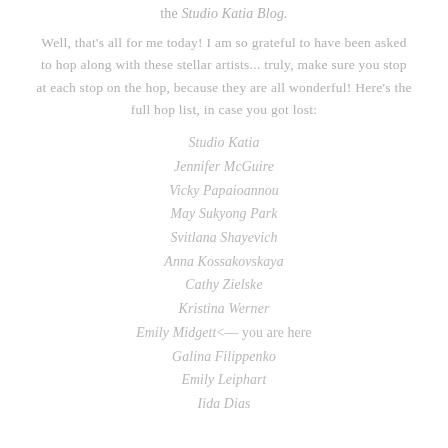the Studio Katia Blog.
Well, that's all for me today! I am so grateful to have been asked to hop along with these stellar artists... truly, make sure you stop at each stop on the hop, because they are all wonderful! Here's the full hop list, in case you got lost:
Studio Katia
Jennifer McGuire
Vicky Papaioannou
May Sukyong Park
Svitlana Shayevich
Anna Kossakovskaya
Cathy Zielske
Kristina Werner
Emily Midgett<— you are here
Galina Filippenko
Emily Leiphart
Iida Dias